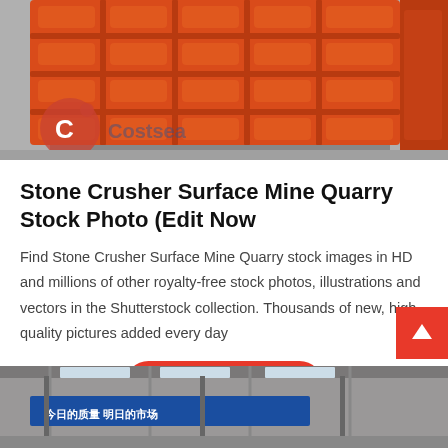[Figure (photo): Orange stone crusher grid/jaw plate industrial equipment in a warehouse, viewed from front showing rectangular grid pattern in orange painted cast iron.]
Stone Crusher Surface Mine Quarry Stock Photo (Edit Now
Find Stone Crusher Surface Mine Quarry stock images in HD and millions of other royalty-free stock photos, illustrations and vectors in the Shutterstock collection. Thousands of new, high-quality pictures added every day
[Figure (photo): Interior of a large industrial factory or warehouse with Chinese signage (今日的质量 明日的市场), structural beams and a blue banner.]